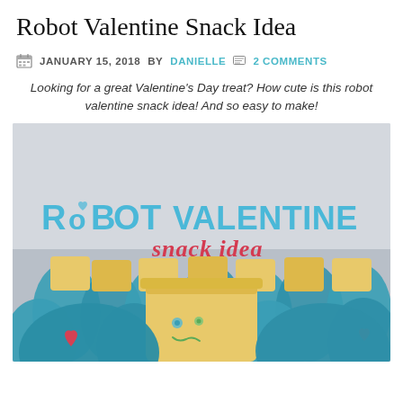Robot Valentine Snack Idea
JANUARY 15, 2018 BY DANIELLE  2 COMMENTS
Looking for a great Valentine's Day treat? How cute is this robot valentine snack idea! And so easy to make!
[Figure (photo): Photo of robot-shaped snack cups made from applesauce squeeze pouches and pudding cups with smiley robot faces drawn on them, with text overlay reading 'ROBOT VALENTINE snack idea' in blue and red handwritten-style lettering]